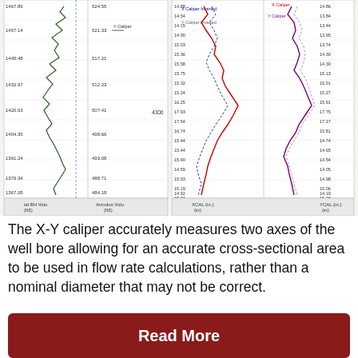[Figure (continuous-plot): Well log caliper chart showing multiple tracks: Actual BH Volume and Annulus Volume tracks on the left with depth values (1467.89 to ~1364), and XCAL and YCAL caliper logs in the right tracks showing X Caliper, X Caliper Inverted, Y Caliper, Y Caliper Inverted curves with depth values and caliper measurements in inches]
The X-Y caliper accurately measures two axes of the well bore allowing for an accurate cross-sectional area to be used in flow rate calculations, rather than a nominal diameter that may not be correct.
Read More